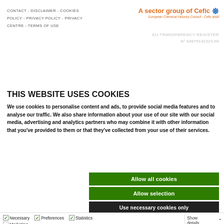CONTACT - DISCLAIMER - COOKIES
POLICY - PRIVACY POLICY - PRIVACY
CENTRE - TERMS OF USE
A sector group of Cefic
European Chemical Industry Council - Cefic aisbl
EU TRANSPARENCY REGISTER
N° 64879142323-90
THIS WEBSITE USES COOKIES
We use cookies to personalise content and ads, to provide social media features and to analyse our traffic. We also share information about your use of our site with our social media, advertising and analytics partners who may combine it with other information that you've provided to them or that they've collected from your use of their services.
Allow all cookies
Allow selection
Use necessary cookies only
Necessary  Preferences  Statistics  Marketing  Show details